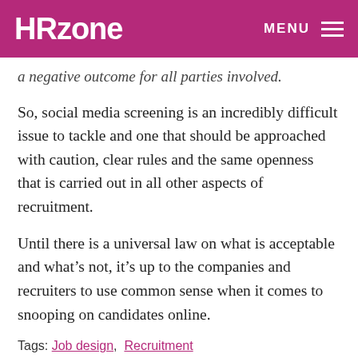HRzone  MENU
a negative outcome for all parties involved.
So, social media screening is an incredibly difficult issue to tackle and one that should be approached with caution, clear rules and the same openness that is carried out in all other aspects of recruitment.
Until there is a universal law on what is acceptable and what’s not, it’s up to the companies and recruiters to use common sense when it comes to snooping on candidates online.
Tags: Job design, Recruitment
Share this content